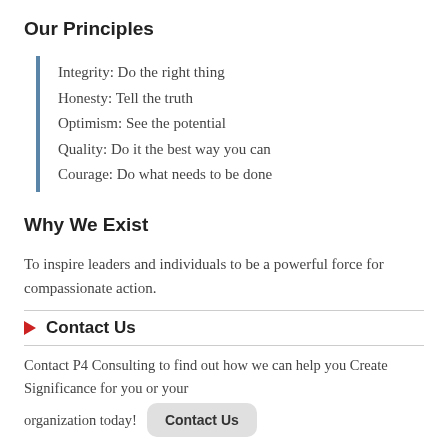Our Principles
Integrity: Do the right thing
Honesty: Tell the truth
Optimism: See the potential
Quality: Do it the best way you can
Courage: Do what needs to be done
Why We Exist
To inspire leaders and individuals to be a powerful force for compassionate action.
Contact Us
Contact P4 Consulting to find out how we can help you Create Significance for you or your organization today!